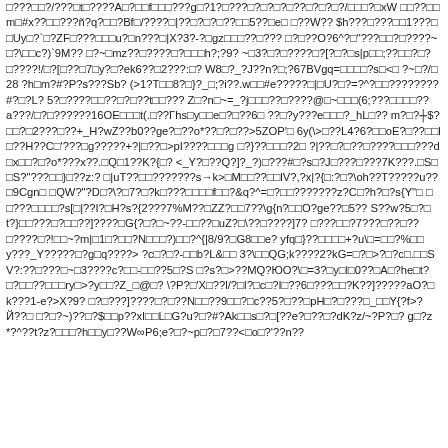□???□□?/???□t□????A□?□□f□□□???g□?1?□???□?□?□?□??□?□?□?/□□□?□xW □□??□□m□#x??□□???ñ?q?□□?Bf□/????□|??□?□?□??□□5??□e□ □??W?? $h???□???□□1???□□Uy□?`□?ZF□???□□□u?□n???□|X?3?-?□gz□□□??□??? □?□??O?6^?□"???□□?□????~□?\□□c?)`9M?? □?~□mz??□????□?□□□h?;?9? ~□3?□?□????□?[?□?□s|p□□;??□□?□?□????!/□?[□??□7□y?□?ek6??□2???:□? W8□?_?J??n?□;?67BVgq=□□□□?s□<□ ?~□?/□28 ?h□m?#?P?s???Sb? (>1?T□□8?□}?_□;?i??.w□□#e?????□|□U?□?=?^?□□????????#?□?L? 5?□????□□??□?□??t□□??? Z□?n□~=_?j□□□??□????@□~□□□(6;???□□□□?? a???/□?□??????16OE□□□t(.□??Γhs□y□□e□?□??6□ ??□?y???e□□□?_hL□?? m?□?┼$?□□?□2???□??+_H?wZ??b0??ge?□??o*??□?□??>5ZOP'□ 6y(\>□??L4?6?□□oE?□??□□l□??H??C□'???□g?????+?|□??□>pI????□□□g □?}??□□□?2□ ?|??□?□??□????□□□???d□x□□?□?o*???x??.□Q□1??K?{□? <_Y?□??Q?]?_?)□???#□?s□?J□???□???7K???.□S□□S?"???□□}□??z:? □|uT??□□???????s→k>□M□□??□□lV?,?x|?{□:?□?\oh??T?????u??□9Cgn□ □QW?"?D□?\?□7?□?k□???□□□□f□□?&q?^=□?□□???????z?C□?h?□?s{Y"□ □□???□□□□?s[□|??I?□H?s?{2???7%M??□ZZ?□□7??\g{n?□□O?ge??□5?? S??w?5□?□t?}□□???□?□□??]????□G{?□?□~??-□□??□uZ?□\??□????]7? □???□□?7???□??□??□????□?!□□~?m|□1□?□□?N□□□?)□□?^{|8/9?□G8□□e? yfq□}??□□□□+?u\□=□□?%□□y???_Y?????□?g□q????> ?c□?□?-□□b?L&□□ 3?\□□QG;k????2?kG=□?□>?□?c□.□□SV?:??□???□~□3????c?□□-□□??5□?S □?s?□>??MQ?ЮO?\□=3?□y□l□0??□A□?he□t?□?□□??□□□ry□>?y□□?Z_□@□? \?P?□'X□??l/?□I?□c□?I□??6□???□□?K??]?????aO?□k???1-e?>X?9? □?□???]????□?□??N□□??9□□?□c??5?□??□pH□?□???□_□□Y{?f>?Й??□ □?□?~)??□?$□□p??xI□□L□G?u?□?#?Ak□□s□?□[??e?□??□?dK?z/~?P?□? g□?z*?^??t?z?□□□?h□□y□??W∞P6;e?□?~p□?□7??<□o□?'??n??